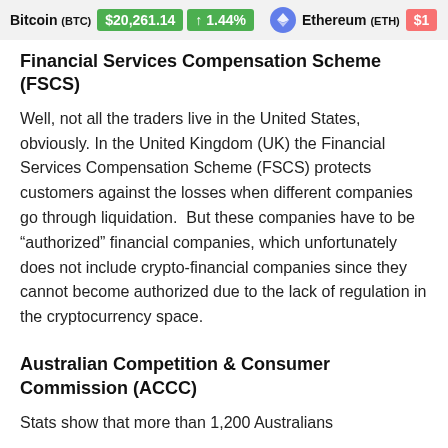Bitcoin (BTC) $20,261.14 ↑ 1.44%  Ethereum (ETH) $1...
Financial Services Compensation Scheme (FSCS)
Well, not all the traders live in the United States, obviously. In the United Kingdom (UK) the Financial Services Compensation Scheme (FSCS) protects customers against the losses when different companies go through liquidation.  But these companies have to be “authorized” financial companies, which unfortunately does not include crypto-financial companies since they cannot become authorized due to the lack of regulation in the cryptocurrency space.
Australian Competition & Consumer Commission (ACCC)
Stats show that more than 1,200 Australians